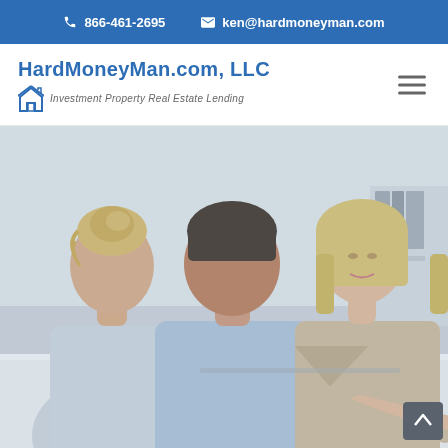866-461-2695  ken@hardmoneyman.com
HardMoneyMan.com, LLC
Investment Property Real Estate Lending
[Figure (photo): Two clients from behind (a woman with blonde updo and a man in light blue shirt) sitting across from a female financial advisor in a beige blazer at a white table in a bright office setting.]